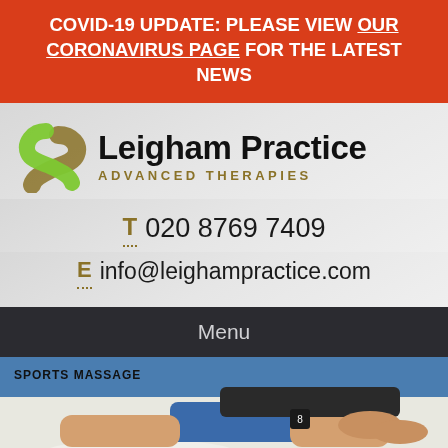COVID-19 UPDATE: PLEASE VIEW OUR CORONAVIRUS PAGE FOR THE LATEST NEWS
[Figure (logo): Leigham Practice Advanced Therapies logo with green and gold swirl icon]
T 020 8769 7409
E info@leighampractice.com
Menu
[Figure (photo): Sports massage photo showing a therapist massaging a person's leg. Text overlay reads SPORTS MASSAGE.]